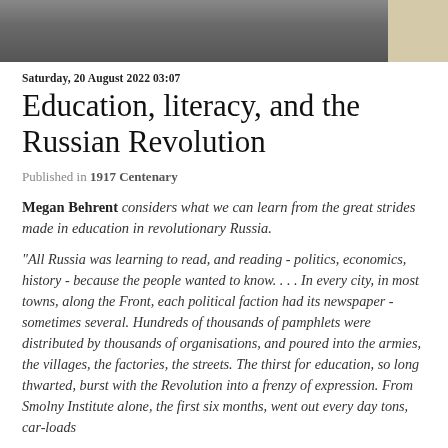[Figure (photo): Top portion of a historical photograph, dark grey tones with a light beige corner on the right]
Saturday, 20 August 2022 03:07
Education, literacy, and the Russian Revolution
Published in 1917 Centenary
Megan Behrent considers what we can learn from the great strides made in education in revolutionary Russia.
"All Russia was learning to read, and reading - politics, economics, history - because the people wanted to know. . . . In every city, in most towns, along the Front, each political faction had its newspaper - sometimes several. Hundreds of thousands of pamphlets were distributed by thousands of organisations, and poured into the armies, the villages, the factories, the streets. The thirst for education, so long thwarted, burst with the Revolution into a frenzy of expression. From Smolny Institute alone, the first six months, went out every day tons, car-loads